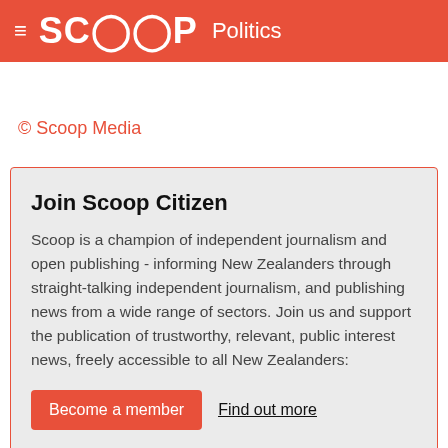≡ SCOOP Politics
© Scoop Media
Join Scoop Citizen
Scoop is a champion of independent journalism and open publishing - informing New Zealanders through straight-talking independent journalism, and publishing news from a wide range of sectors. Join us and support the publication of trustworthy, relevant, public interest news, freely accessible to all New Zealanders:
Become a member   Find out more